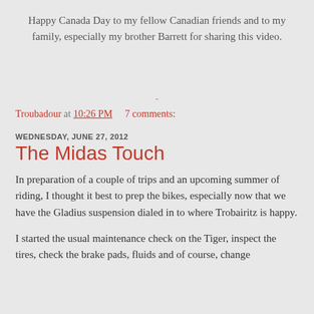Happy Canada Day to my fellow Canadian friends and to my family, especially my brother Barrett for sharing this video.
-
Troubadour at 10:26 PM    7 comments:
WEDNESDAY, JUNE 27, 2012
The Midas Touch
In preparation of a couple of trips and an upcoming summer of riding, I thought it best to prep the bikes, especially now that we have the Gladius suspension dialed in to where Trobairitz is happy.
I started the usual maintenance check on the Tiger, inspect the tires, check the brake pads, fluids and of course, change